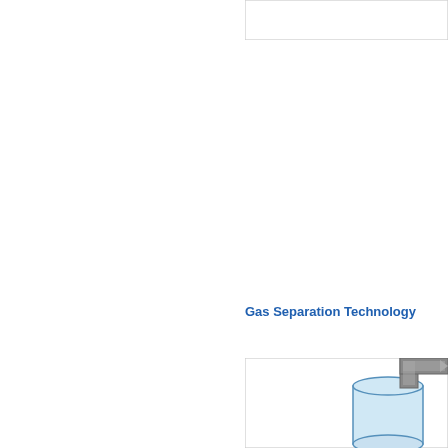[Figure (schematic): Partial view of a box/panel element at the top right of the page, showing only its bottom-left corner with a light gray border.]
Gas Separation Technology
[Figure (engineering-diagram): Partial engineering diagram at the bottom right showing a cylindrical vessel (light blue) with a dark gray pipe/connector fitting on top-right, partially cropped. The cylinder has a rounded top and the connector appears to be an elbow pipe fitting with an arrow indicating flow direction.]